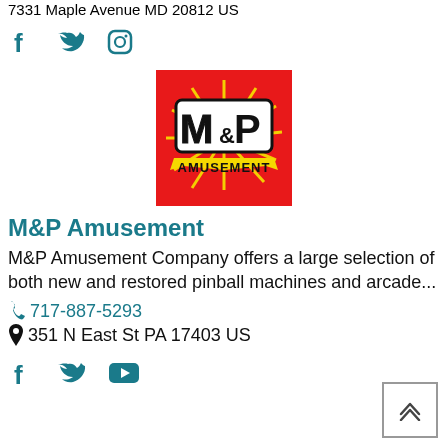7331 Maple Avenue MD 20812 US
[Figure (logo): Social media icons: Facebook, Twitter, Instagram (teal color)]
[Figure (logo): M&P Amusement logo on red background with yellow starburst and stylized block text]
M&P Amusement
M&P Amusement Company offers a large selection of both new and restored pinball machines and arcade...
717-887-5293
351 N East St PA 17403 US
[Figure (logo): Social media icons: Facebook, Twitter, YouTube (teal color)]